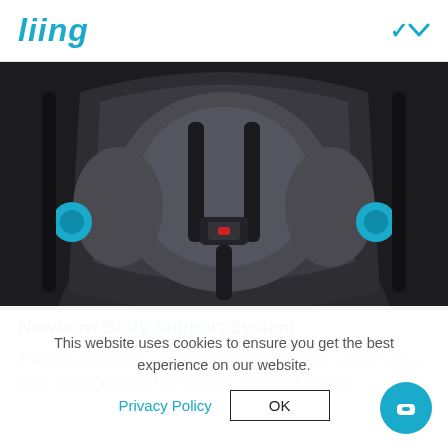liing
[Figure (photo): Close-up photo of a dark grey/black infant car seat showing the padded newborn body support insert, five-point harness buckle, and blue accent connectors on the sides]
Newborn Body Support System
The two-stage insert system provides proper head support and a snug seating position for newborns. The extra support
This website uses cookies to ensure you get the best experience on our website.
Privacy Policy  OK